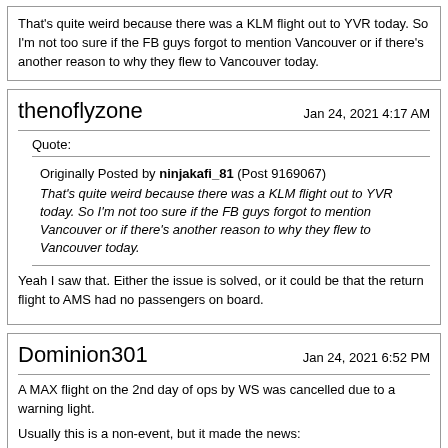That's quite weird because there was a KLM flight out to YVR today. So I'm not too sure if the FB guys forgot to mention Vancouver or if there's another reason to why they flew to Vancouver today.
thenoflyzone
Jan 24, 2021 4:17 AM
Quote:
Originally Posted by ninjakafi_81 (Post 9169067)
That's quite weird because there was a KLM flight out to YVR today. So I'm not too sure if the FB guys forgot to mention Vancouver or if there's another reason to why they flew to Vancouver today.
Yeah I saw that. Either the issue is solved, or it could be that the return flight to AMS had no passengers on board.
Dominion301
Jan 24, 2021 6:52 PM
A MAX flight on the 2nd day of ops by WS was cancelled due to a warning light.
Usually this is a non-event, but it made the news: